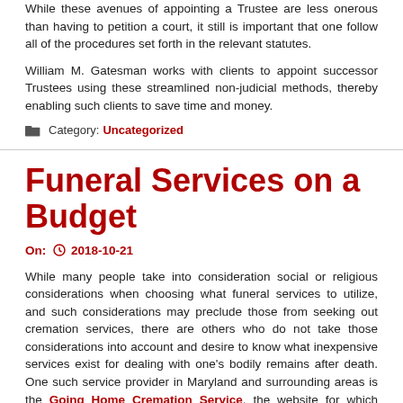While these avenues of appointing a Trustee are less onerous than having to petition a court, it still is important that one follow all of the procedures set forth in the relevant statutes.
William M. Gatesman works with clients to appoint successor Trustees using these streamlined non-judicial methods, thereby enabling such clients to save time and money.
Category: Uncategorized
Funeral Services on a Budget
On: 2018-10-21
While many people take into consideration social or religious considerations when choosing what funeral services to utilize, and such considerations may preclude those from seeking out cremation services, there are others who do not take those considerations into account and desire to know what inexpensive services exist for dealing with one's bodily remains after death. One such service provider in Maryland and surrounding areas is the Going Home Cremation Service, the website for which company is http://www.goinghomecremation.com/.
Category: Uncategorized